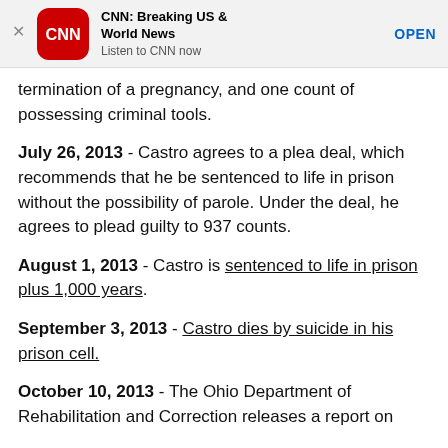[Figure (screenshot): CNN Breaking US & World News app advertisement banner with red CNN logo, app name, tagline 'Listen to CNN now', and OPEN button]
termination of a pregnancy, and one count of possessing criminal tools.
July 26, 2013 - Castro agrees to a plea deal, which recommends that he be sentenced to life in prison without the possibility of parole. Under the deal, he agrees to plead guilty to 937 counts.
August 1, 2013 - Castro is sentenced to life in prison plus 1,000 years.
September 3, 2013 - Castro dies by suicide in his prison cell.
October 10, 2013 - The Ohio Department of Rehabilitation and Correction releases a report on